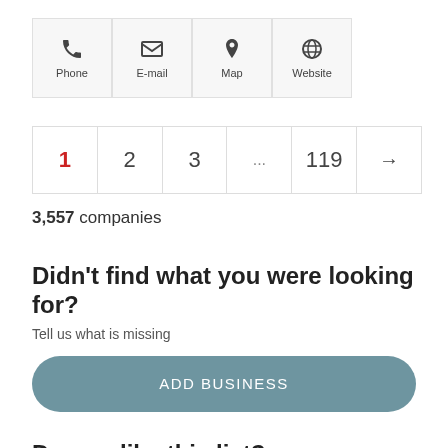[Figure (infographic): Row of four contact button icons: Phone (phone handset icon), E-mail (envelope icon), Map (location pin icon), Website (globe icon), each in a light grey bordered box]
1  2  3  ...  119  →
3,557 companies
Didn't find what you were looking for?
Tell us what is missing
ADD BUSINESS
Do you like this list?